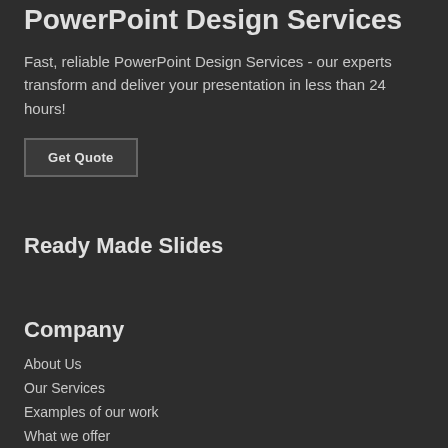PowerPoint Design Services
Fast, reliable PowerPoint Design Services - our experts transform and deliver your presentation in less than 24 hours!
Get Quote
Ready Made Slides
Company
About Us
Our Services
Examples of our work
What we offer